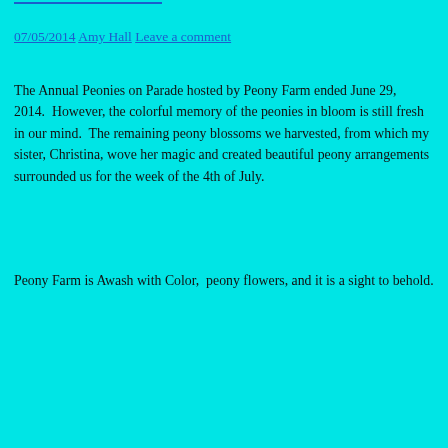07/05/2014 Amy Hall Leave a comment
The Annual Peonies on Parade hosted by Peony Farm ended June 29, 2014.  However, the colorful memory of the peonies in bloom is still fresh in our mind.  The remaining peony blossoms we harvested, from which my sister, Christina, wove her magic and created beautiful peony arrangements surrounded us for the week of the 4th of July.
Peony Farm is Awash with Color,  peony flowers, and it is a sight to behold.